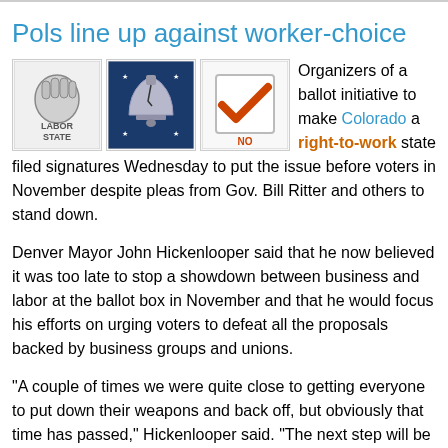Pols line up against worker-choice
[Figure (illustration): Three icons side by side: a Labor State fist logo, a Liberty Bell logo, and a ballot box with checkmark logo]
Organizers of a ballot initiative to make Colorado a right-to-work state filed signatures Wednesday to put the issue before voters in November despite pleas from Gov. Bill Ritter and others to stand down.
Denver Mayor John Hickenlooper said that he now believed it was too late to stop a showdown between business and labor at the ballot box in November and that he would focus his efforts on urging voters to defeat all the proposals backed by business groups and unions.
"A couple of times we were quite close to getting everyone to put down their weapons and back off, but obviously that time has passed," Hickenlooper said. "The next step will be to get people to just say no to all the initiatives."